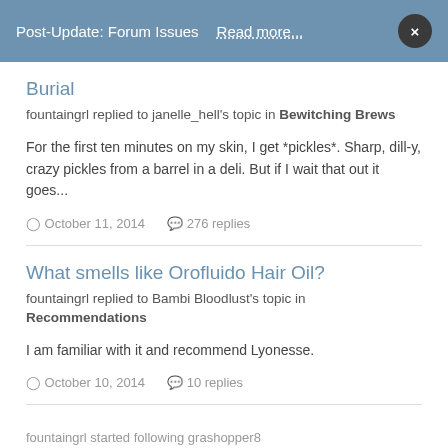Post-Update: Forum Issues   Read more...   ×
Burial
fountaingrl replied to janelle_hell's topic in Bewitching Brews
For the first ten minutes on my skin, I get *pickles*. Sharp, dill-y, crazy pickles from a barrel in a deli. But if I wait that out it goes...
October 11, 2014   276 replies
What smells like Orofluido Hair Oil?
fountaingrl replied to Bambi Bloodlust's topic in Recommendations
I am familiar with it and recommend Lyonesse.
October 10, 2014   10 replies
fountaingrl started following grashopper8
October 3, 2014